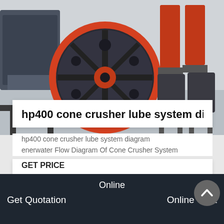[Figure (photo): Industrial cone crusher machinery with large red flywheel and red cylindrical components on metal stands in a factory setting]
hp400 cone crusher lube system di
hp400 cone crusher lube system diagram enerwater Flow Diagram Of Cone Crusher System
GET PRICE
[Figure (photo): Industrial ball mill grinding machinery in a factory or plant setting, large cylindrical drum visible]
Online
Get Quotation
Online Chat